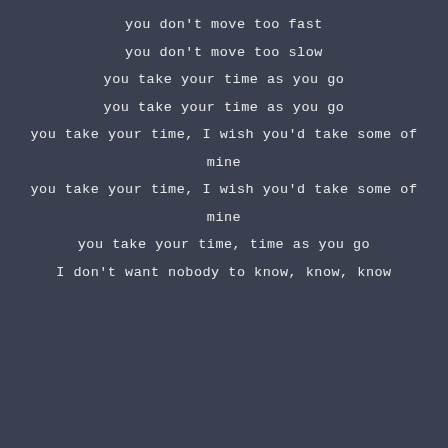you don't move too fast
you don't move too slow
you take your time as you go
you take your time as you go
you take your time, I wish you'd take some of
mine
you take your time, I wish you'd take some of
mine
you take your time, time as you go
I don't want nobody to know, know, know